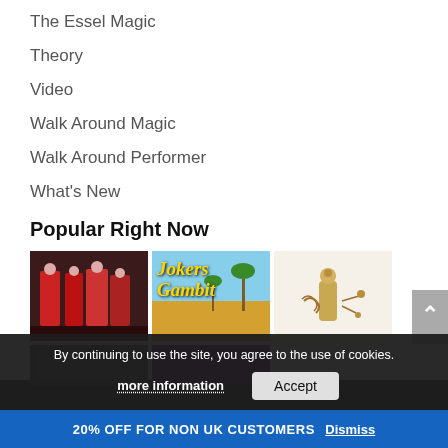The Essel Magic
Theory
Video
Walk Around Magic
Walk Around Performer
What's New
Popular Right Now
[Figure (photo): Three thumbnail images: (1) Red/dark costume performers on stage, (2) 'Jokers Gambit' yellow text on blue sky background with palm trees, (3) Brass/copper mechanical device on white background]
By continuing to use the site, you agree to the use of cookies.
more information
Accept
20% OFF FOR NON UK CUSTOMERS Dismiss